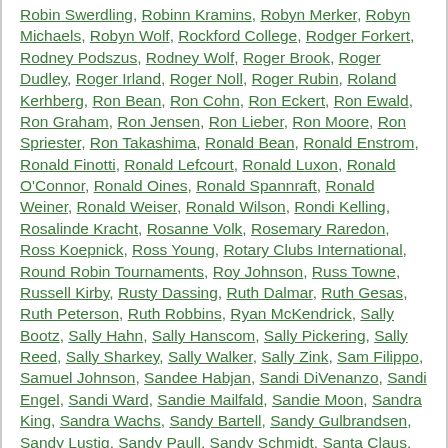Robin Swerdling, Robinn Kramins, Robyn Merker, Robyn Michaels, Robyn Wolf, Rockford College, Rodger Forkert, Rodney Podszus, Rodney Wolf, Roger Brook, Roger Dudley, Roger Irland, Roger Noll, Roger Rubin, Roland Kerhberg, Ron Bean, Ron Cohn, Ron Eckert, Ron Ewald, Ron Graham, Ron Jensen, Ron Lieber, Ron Moore, Ron Spriester, Ron Takashima, Ronald Bean, Ronald Enstrom, Ronald Finotti, Ronald Lefcourt, Ronald Luxon, Ronald O'Connor, Ronald Oines, Ronald Spannraft, Ronald Weiner, Ronald Weiser, Ronald Wilson, Rondi Kelling, Rosalinde Kracht, Rosanne Volk, Rosemary Raredon, Ross Koepnick, Ross Young, Rotary Clubs International, Round Robin Tournaments, Roy Johnson, Russ Towne, Russell Kirby, Rusty Dassing, Ruth Dalmar, Ruth Gesas, Ruth Peterson, Ruth Robbins, Ryan McKendrick, Sally Bootz, Sally Hahn, Sally Hanscom, Sally Pickering, Sally Reed, Sally Sharkey, Sally Walker, Sally Zink, Sam Filippo, Samuel Johnson, Sandee Habjan, Sandi DiVenanzo, Sandi Engel, Sandi Ward, Sandie Mailfald, Sandie Moon, Sandra King, Sandra Wachs, Sandy Bartell, Sandy Gulbrandsen, Sandy Lustig, Sandy Paull, Sandy Schmidt, Santa Claus, Sara Gates, Sara Lee Bakeries, Sara Rice,